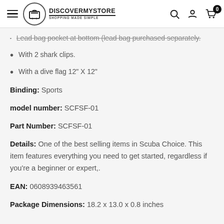DISCOVERMYSTORE — SHOPPING MADE SIMPLE
Lead bag pocket at bottom (lead bag purchased separately.
With 2 shark clips.
With a dive flag 12" X 12"
Binding: Sports
model number: SCFSF-01
Part Number: SCFSF-01
Details: One of the best selling items in Scuba Choice. This item features everything you need to get started, regardless if you're a beginner or expert,.
EAN: 0608939463561
Package Dimensions: 18.2 x 13.0 x 0.8 inches